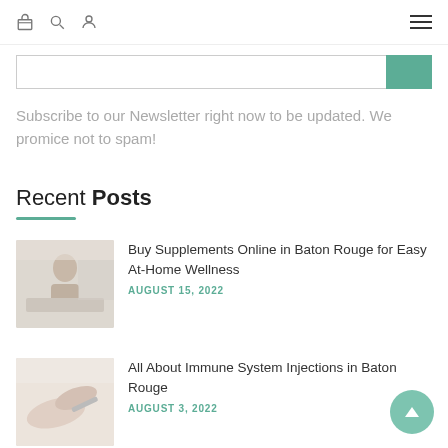Navigation bar with basket, search, user icons and hamburger menu
Subscribe to our Newsletter right now to be updated. We promice not to spam!
Recent Posts
Buy Supplements Online in Baton Rouge for Easy At-Home Wellness — AUGUST 15, 2022
All About Immune System Injections in Baton Rouge — AUGUST 3, 2022